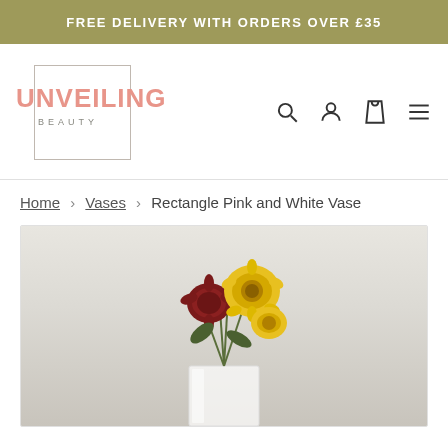FREE DELIVERY WITH ORDERS OVER £35
[Figure (logo): Unveiling Beauty logo — pink text 'UNVEILING' with 'BEAUTY' below, inside a rectangular border outline]
[Figure (other): Navigation icons: search magnifying glass, user/person icon, shopping bag icon, hamburger menu icon]
Home › Vases › Rectangle Pink and White Vase
[Figure (photo): Product photo showing yellow and dark red chrysanthemum flowers in a clear/white rectangular vase against a white/light grey background]